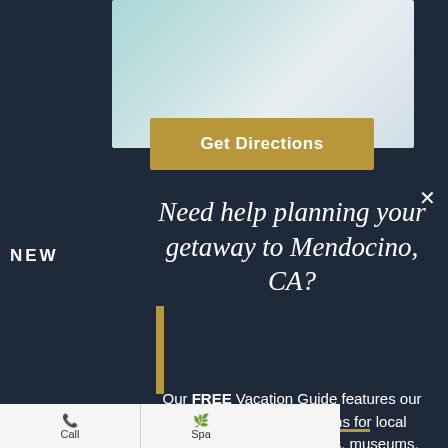[Figure (screenshot): Screenshot of a travel website modal popup over a map background, showing a 'Get Directions' button, a script-font heading asking about planning a Mendocino, CA getaway, and descriptive text about a free vacation guide.]
Get Directions
Need help planning your getaway to Mendocino, CA?
Our FREE Vacation Guide features our favorite recommendations for local restaurants, shops, events, museums, outdoor activities, and more.